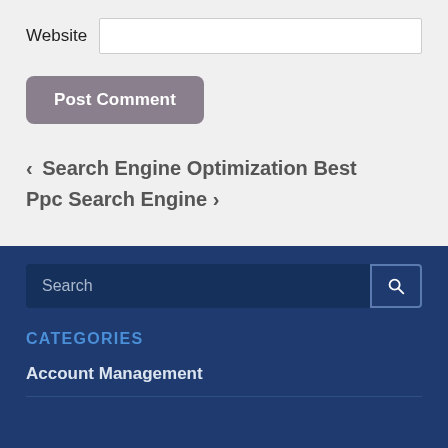Website
Post Comment
< Search Engine Optimization Best
Ppc Search Engine >
Search
CATEGORIES
Account Management